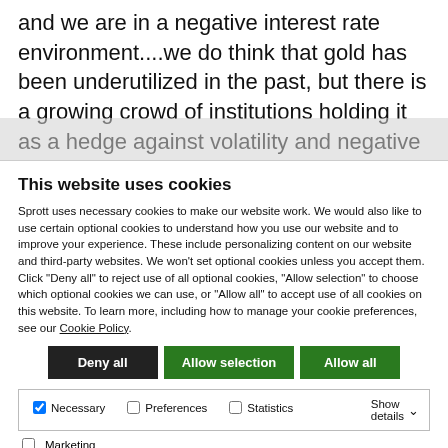and we are in a negative interest rate environment....we do think that gold has been underutilized in the past, but there is a growing crowd of institutions holding it as a hedge against volatility and negative market developments. Gold is being accumulated much more than it has in the past"
This website uses cookies
Sprott uses necessary cookies to make our website work. We would also like to use certain optional cookies to understand how you use our website and to improve your experience. These include personalizing content on our website and third-party websites. We won't set optional cookies unless you accept them. Click "Deny all" to reject use of all optional cookies, "Allow selection" to choose which optional cookies we can use, or "Allow all" to accept use of all cookies on this website. To learn more, including how to manage your cookie preferences, see our Cookie Policy.